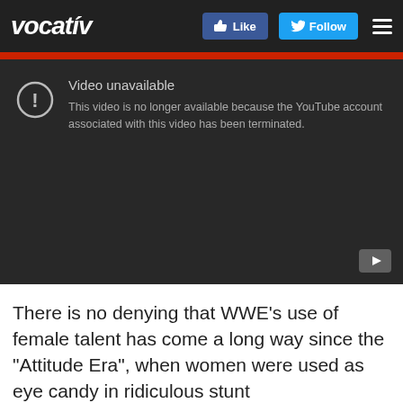vocativ
[Figure (screenshot): YouTube video unavailable error screen on dark background. Shows exclamation mark icon in circle, text 'Video unavailable' and 'This video is no longer available because the YouTube account associated with this video has been terminated.' YouTube play button icon in bottom right corner.]
There is no denying that WWE’s use of female talent has come a long way since the “Attitude Era”, when women were used as eye candy in ridiculous stunt